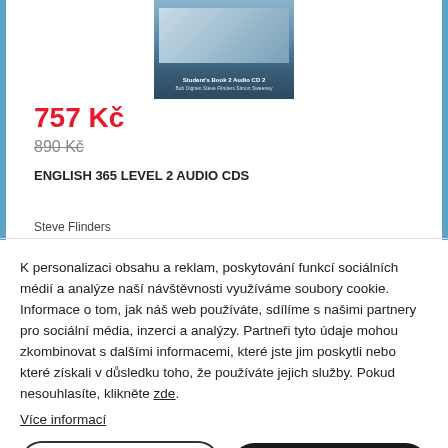[Figure (photo): Book cover for English 365 Level 2 Audio CDs showing students and graduates]
757 Kč
890 Kč
ENGLISH 365 LEVEL 2 AUDIO CDS
Steve Flinders
K personalizaci obsahu a reklam, poskytování funkcí sociálních médií a analýze naší návštěvnosti využíváme soubory cookie. Informace o tom, jak náš web používáte, sdílíme s našimi partnery pro sociální média, inzerci a analýzy. Partneři tyto údaje mohou zkombinovat s dalšími informacemi, které jste jim poskytli nebo které získali v důsledku toho, že používáte jejich služby. Pokud nesouhlasíte, klikněte zde.
Více informací
Podrobné nastavení
Rozumím a přijímám